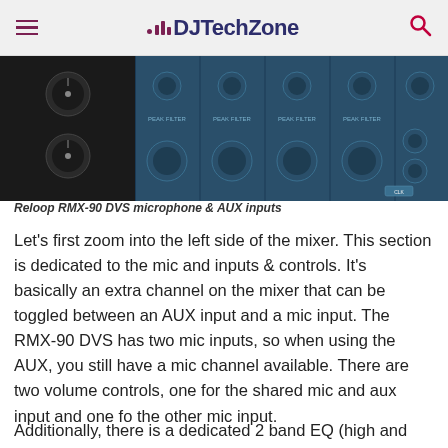DJTechZone
[Figure (photo): Reloop RMX-90 DVS mixer panel showing microphone and AUX inputs — a blue-tinted hardware mixer interface with multiple knobs and input sections]
Reloop RMX-90 DVS microphone & AUX inputs
Let's first zoom into the left side of the mixer. This section is dedicated to the mic and inputs & controls. It's basically an extra channel on the mixer that can be toggled between an AUX input and a mic input. The RMX-90 DVS has two mic inputs, so when using the AUX, you still have a mic channel available. There are two volume controls, one for the shared mic and aux input and one fo the other mic input.
Additionally, there is a dedicated 2 band EQ (high and low) for both mic and aux inputs. Finally, there is a